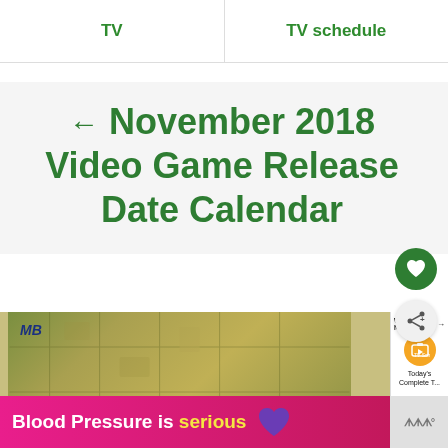TV | TV schedule
← November 2018 Video Game Release Date Calendar
[Figure (photo): Board game (Carcassonne/MB) photo, partially visible]
WHAT'S NEXT → Today's Complete T...
[Figure (infographic): Blood Pressure is serious advertisement banner with purple heart]